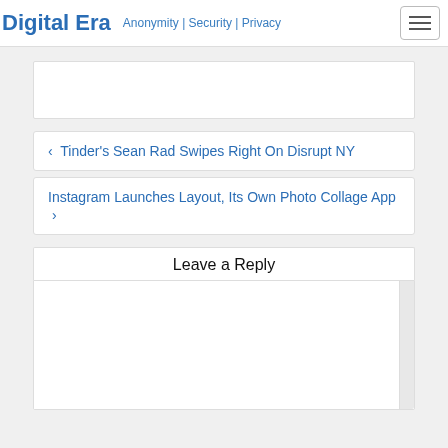Digital Era  Anonymity | Security | Privacy
[Figure (other): Advertisement or empty box placeholder]
← Tinder's Sean Rad Swipes Right On Disrupt NY
Instagram Launches Layout, Its Own Photo Collage App →
Leave a Reply
[Figure (screenshot): Comment text area input box with scrollbar]